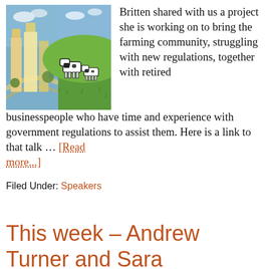[Figure (photo): Composite photo: urban cityscape with tall buildings on the left, and dairy cows grazing on green hills on the right]
Britten shared with us a project she is working on to bring the farming community, struggling with new regulations, together with retired businesspeople who have time and experience with government regulations to assist them. Here is a link to that talk … [Read more...]
Filed Under: Speakers
This week – Andrew Turner and Sara